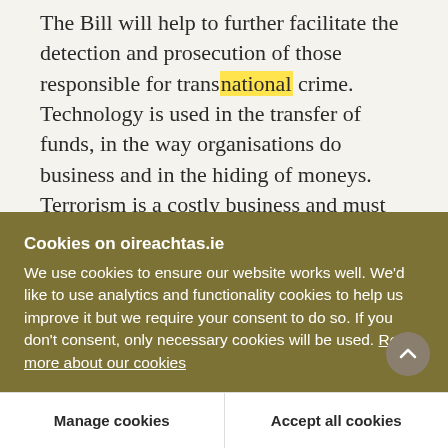The Bill will help to further facilitate the detection and prosecution of those responsible for transnational crime. Technology is used in the transfer of funds, in the way organisations do business and in the hiding of moneys. Terrorism is a costly business and must be funded. We must play our part in providing the necessary framework to try to break that chain. Without it and without supply we help in combating the delivery of the terrorist act. We have had our own painful experiences of terrorism and we must live in the aftermath of that
Cookies on oireachtas.ie
We use cookies to ensure our website works well. We'd like to use analytics and functionality cookies to help us improve it but we require your consent to do so. If you don't consent, only necessary cookies will be used. Read more about our cookies
Manage cookies
Accept all cookies